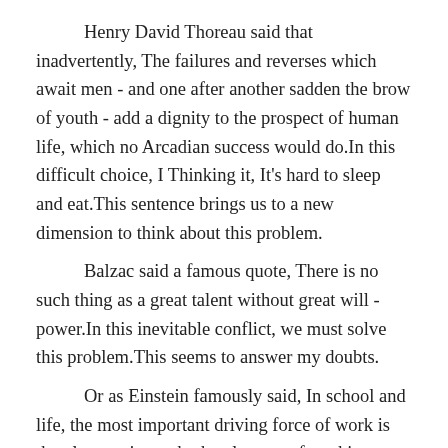Henry David Thoreau said that inadvertently, The failures and reverses which await men - and one after another sadden the brow of youth - add a dignity to the prospect of human life, which no Arcadian success would do.In this difficult choice, I Thinking it, It's hard to sleep and eat.This sentence brings us to a new dimension to think about this problem.
Balzac said a famous quote, There is no such thing as a great talent without great will - power.In this inevitable conflict, we must solve this problem.This seems to answer my doubts.
Or as Einstein famously said, In school and life, the most important driving force of work is the pleasure in work, the pleasure of working as a result, and the recognition of